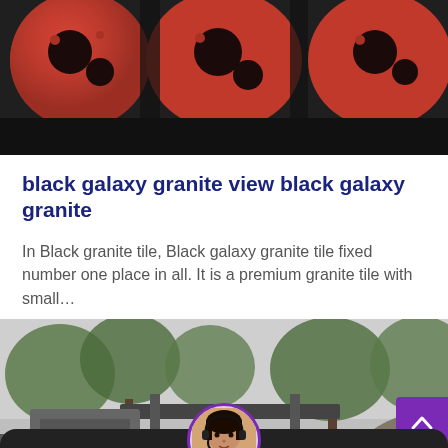[Figure (photo): Close-up photo of red industrial machinery with large circular red and black components]
black galaxy granite view black galaxy granite
In Black granite tile, Black galaxy granite tile fixed number one place in all. It is a premium granite tile with small…
[Figure (photo): Outdoor photo showing industrial/construction machinery and vehicles under trees with overcast sky]
Leave Message   Chat Online